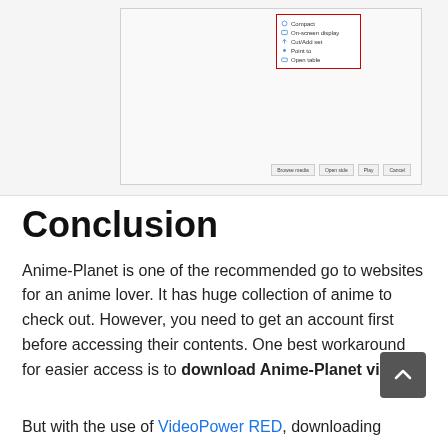[Figure (screenshot): Screenshot of a browser/application context menu with options: Compact, On-screen display, Cut/Add set, Point to, Open table. The menu is highlighted with a red border rectangle.]
Conclusion
Anime-Planet is one of the recommended go to websites for an anime lover. It has huge collection of anime to check out. However, you need to get an account first before accessing their contents. One best workaround for easier access is to download Anime-Planet videos.

But with the use of VideoPower RED, downloading